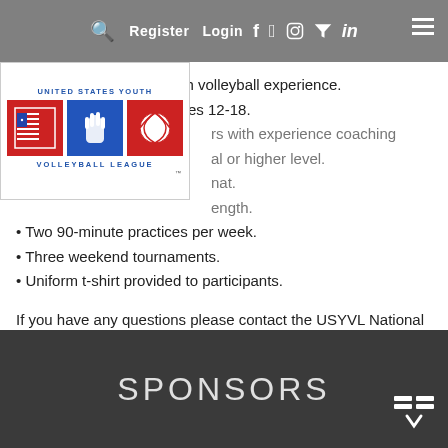Register  Login  [social icons: Facebook, Twitter, Instagram, YouTube, LinkedIn]
[Figure (logo): United States Youth Volleyball League logo with red, white, and blue flag and hand icons]
Designed for players with volleyball experience.
Co-ed, boys and girls ages 12-18.
Qualified coaches — players with experience coaching at or higher level.
Tournament format.
Season length.
Two 90-minute practices per week.
Three weekend tournaments.
Uniform t-shirt provided to participants.
If you have any questions please contact the USYVL National Office at 1-888-988-7985.
SPONSORS